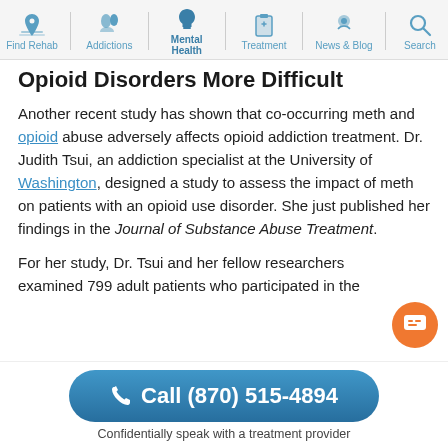Find Rehab | Addictions | Mental Health | Treatment | News & Blog | Search
Opioid Disorders More Difficult
Another recent study has shown that co-occurring meth and opioid abuse adversely affects opioid addiction treatment. Dr. Judith Tsui, an addiction specialist at the University of Washington, designed a study to assess the impact of meth on patients with an opioid use disorder. She just published her findings in the Journal of Substance Abuse Treatment.
For her study, Dr. Tsui and her fellow researchers examined 799 adult patients who participated in the
Call (870) 515-4894 — Confidentially speak with a treatment provider